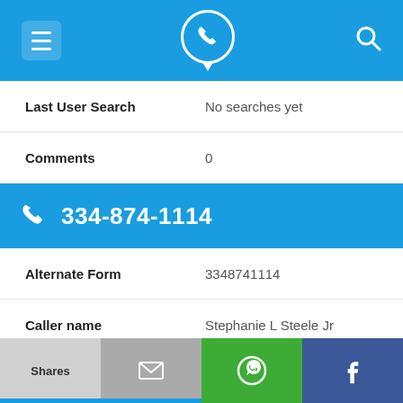[Figure (screenshot): Top navigation bar with blue background: hamburger menu icon on left, phone/location pin icon in center, search icon on right]
Last User Search    No searches yet
Comments    0
334-874-1114
Alternate Form    3348741114
Caller name    Stephanie L Steele Jr
Last User Search    No searches yet
Comments    0
[Figure (screenshot): Bottom bar with Shares, email, WhatsApp, and Facebook share buttons]